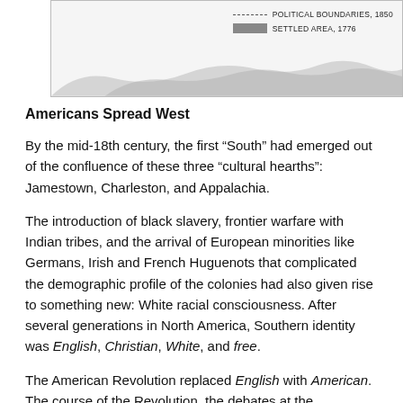[Figure (map): Partial view of a historical map showing political boundaries 1850 and settled area 1776, with a map silhouette/legend visible in upper right.]
Americans Spread West
By the mid-18th century, the first “South” had emerged out of the confluence of these three “cultural hearths”: Jamestown, Charleston, and Appalachia.
The introduction of black slavery, frontier warfare with Indian tribes, and the arrival of European minorities like Germans, Irish and French Huguenots that complicated the demographic profile of the colonies had also given rise to something new: White racial consciousness. After several generations in North America, Southern identity was English, Christian, White, and free.
The American Revolution replaced English with American. The course of the Revolution, the debates at the Constitutional Convention, and the onset of sectional conflict within the Union